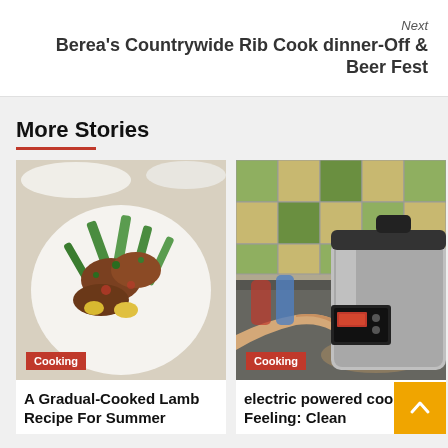Next
Berea's Countrywide Rib Cook dinner-Off & Beer Fest
More Stories
[Figure (photo): A plate of slow-cooked lamb with green vegetables and herbs]
Cooking
A Gradual-Cooked Lamb Recipe For Summer
[Figure (photo): A person pressing a button on an electric pressure cooker in a kitchen with green and beige tiled wall]
Cooking
electric powered cooking: Feeling: Clean